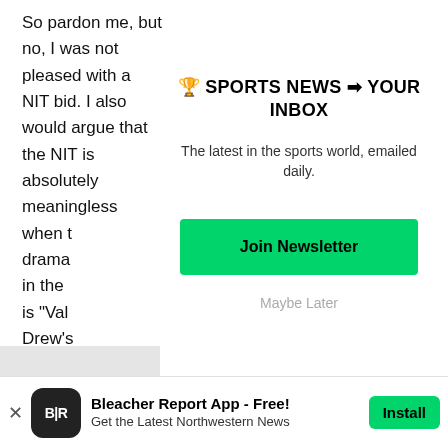So pardon me, but no, I was not pleased with a NIT bid. I also would argue that the NIT is absolutely meaningless when
drama
in the
is "Val
Drew's
🏆 SPORTS NEWS ➡ YOUR INBOX
The latest in the sports world, emailed daily.
Join Newsletter
Maybe Later
Bleacher Report App - Free!
Get the Latest Northwestern News